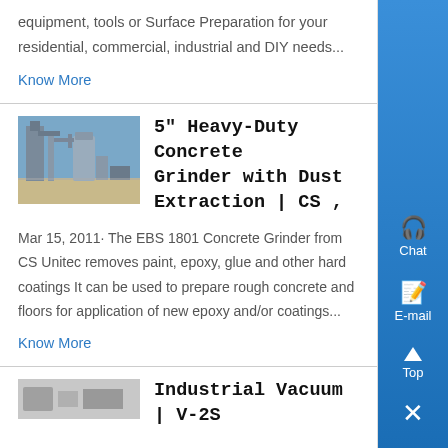equipment, tools or Surface Preparation for your residential, commercial, industrial and DIY needs...
Know More
[Figure (photo): Photo of industrial concrete grinding equipment outdoors]
5" Heavy-Duty Concrete Grinder with Dust Extraction | CS ,
Mar 15, 2011· The EBS 1801 Concrete Grinder from CS Unitec removes paint, epoxy, glue and other hard coatings It can be used to prepare rough concrete and floors for application of new epoxy and/or coatings...
Know More
Industrial Vacuum | V-2S